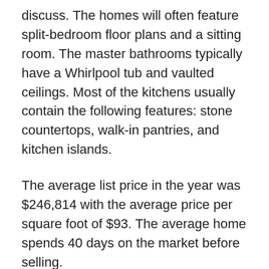discuss. The homes will often feature split-bedroom floor plans and a sitting room. The master bathrooms typically have a Whirlpool tub and vaulted ceilings. Most of the kitchens usually contain the following features: stone countertops, walk-in pantries, and kitchen islands.
The average list price in the year was $246,814 with the average price per square foot of $93. The average home spends 40 days on the market before selling.
Candlewood Realtors
Are you looking for a home in the Dallas area? Our real estate team are LOCAL experts and can answer your questions about Candlewood or any other subdivision